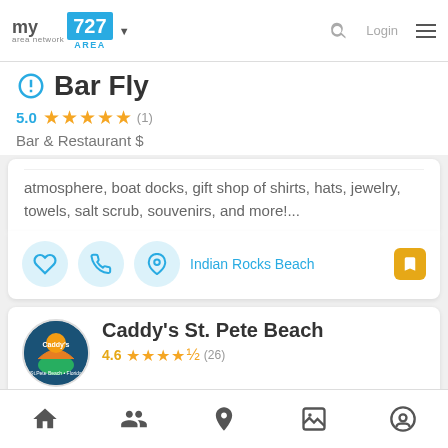my area network | 727 AREA | Login
Bar Fly
5.0 ★★★★★ (1)
Bar & Restaurant $
atmosphere, boat docks, gift shop of shirts, hats, jewelry, towels, salt scrub, souvenirs, and more!...
Indian Rocks Beach
Caddy's St. Pete Beach
4.6 ★★★★½ (26)
5501 Gulf Blvd, St Pete Beach FL, 33706
Casual Waterfront Dining at it is best in the heart of Sunny St. Pete
Home | People | Location | Photos | Account